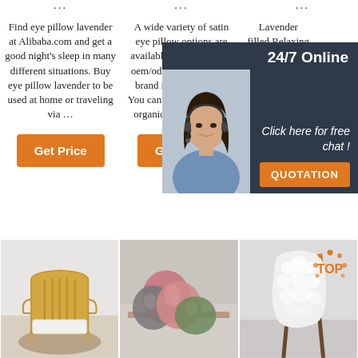Find eye pillow lavender at Alibaba.com and get a good night's sleep in many different situations. Buy eye pillow lavender to be used at home or traveling via …
A wide variety of satin eye pillow options are available to you, such as oem/odm, obm (original brand manufacturing). You can also choose from organic, herbal, and …
Lavender filled Relaxing Eye Pillow with 100% Cotton T… pillow… sup $1.50-100.0 Order…
[Figure (photo): Chat support popup with woman wearing headset, dark blue background, '24/7 Online' header, 'Click here for free chat!' text, and orange QUOTATION button]
[Figure (photo): Wooden armchair with bamboo-style frame on a round brown rug against white wall]
[Figure (photo): Colorful fluffy cushions/pillows in pink, grey, green colors on a shelf]
[Figure (photo): White sheepskin rug draped over a wooden chair, with orange TOP badge in corner]